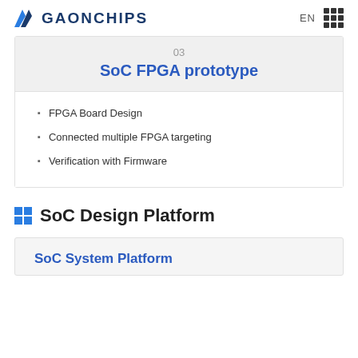GAONCHIPS EN
03
SoC FPGA prototype
FPGA Board Design
Connected multiple FPGA targeting
Verification with Firmware
SoC Design Platform
SoC System Platform